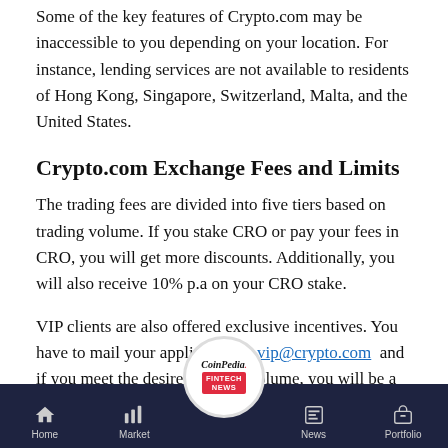Some of the key features of Crypto.com may be inaccessible to you depending on your location. For instance, lending services are not available to residents of Hong Kong, Singapore, Switzerland, Malta, and the United States.
Crypto.com Exchange Fees and Limits
The trading fees are divided into five tiers based on trading volume. If you stake CRO or pay your fees in CRO, you will get more discounts. Additionally, you will also receive 10% p.a on your CRO stake.
VIP clients are also offered exclusive incentives. You have to mail your application to vip@crypto.com and if you meet the desired trading volume, you will be a VIP client.
[Figure (logo): CoinPedia Fintech News circular logo]
Home | Market | News | Portfolio navigation bar